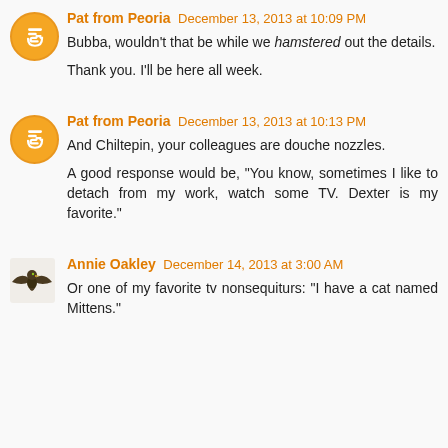Pat from Peoria December 13, 2013 at 10:09 PM
Bubba, wouldn't that be while we hamstered out the details.

Thank you. I'll be here all week.
Pat from Peoria December 13, 2013 at 10:13 PM
And Chiltepin, your colleagues are douche nozzles.

A good response would be, "You know, sometimes I like to detach from my work, watch some TV. Dexter is my favorite."
Annie Oakley December 14, 2013 at 3:00 AM
Or one of my favorite tv nonsequiturs: "I have a cat named Mittens."